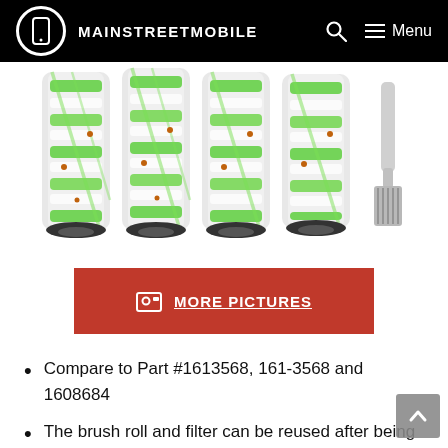MAINSTREETMOBILE
[Figure (photo): Four green and white brush rolls and one small cleaning brush arranged in a row on a white background]
MORE PICTURES
Compare to Part #1613568, 161-3568 and 1608684
The brush roll and filter can be reused after being washed with water and completely air-dried